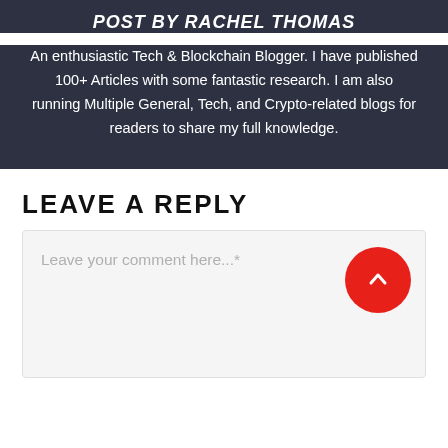POST BY RACHEL THOMAS
An enthusiastic Tech & Blockchain Blogger. I have published 100+ Articles with some fantastic research. I am also running Multiple General, Tech, and Crypto-related blogs for readers to share my full knowledge.
LEAVE A REPLY
Leave your comment here...*